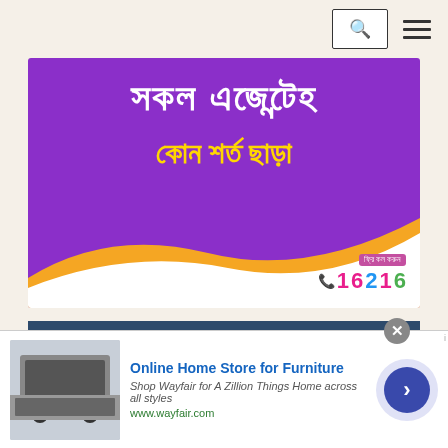[Figure (screenshot): Navigation bar with search icon button and hamburger menu icon on a beige background]
[Figure (infographic): Purple banner advertisement with Bengali text in white and yellow reading 'সকল এজেন্টেহ' and 'কোন শর্ত ছাড়া' with orange wave design and phone number 16216]
More News
» Wife accuses cricketer Al-Amin Hossain of
[Figure (infographic): Advertisement for Wayfair Online Home Store for Furniture with image of kitchen appliances, text 'Online Home Store for Furniture', 'Shop Wayfair for A Zillion Things Home across all styles', 'www.wayfair.com', and a blue arrow button. Close button visible.]